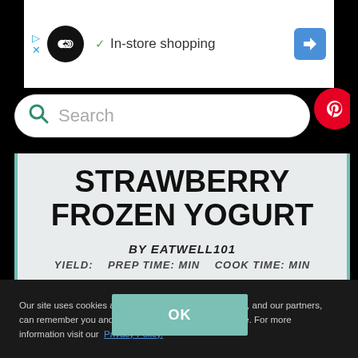[Figure (screenshot): Ad bar with infinity loop icon, In-store shopping text with checkmark, and navigation arrow icon]
[Figure (screenshot): Search bar with green magnifying glass icon and Pinterest red circle button]
STRAWBERRY FROZEN YOGURT
BY EATWELL101
YIELD:   PREP TIME: MIN   COOK TIME: MIN
Our site uses cookies and other technologies so that we, and our partners, can remember you and understand how you use our site. For more information visit our Privacy Policy.
OK